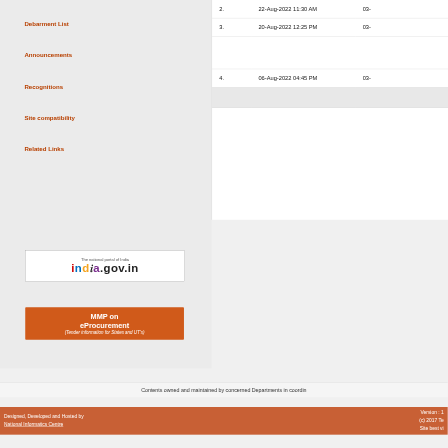Debarment List
Announcements
Recognitions
Site compatibility
Related Links
| # | Date/Time | Info |
| --- | --- | --- |
| 2. | 22-Aug-2022 11:30 AM | 03- |
| 3. | 20-Aug-2022 12:25 PM | 03- |
| 4. | 06-Aug-2022 04:45 PM | 03- |
[Figure (logo): india.gov.in - The national portal of India logo]
[Figure (infographic): MMP on eProcurement (Tender information for States and UT's) orange banner]
Contents owned and maintained by concerned Departments in coordin
Designed, Developed and Hosted by National Informatics Centre | Version : 1 (c) 2017 Te Site best vi